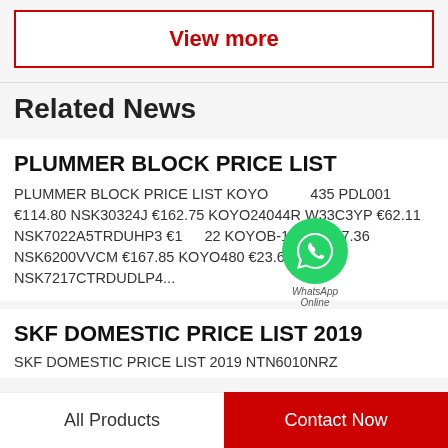View more
Related News
PLUMMER BLOCK PRICE LIST
PLUMMER BLOCK PRICE LIST KOYO…435 PDL001 €114.80 NSK30324J €162.75 KOYO24044R W33C3YP €62.11 NSK7022A5TRDUHP3 €161.22 KOYOB-1314 €157.36 NSK6200VVCM €167.85 KOYO480 €23.65 NSK7217CTRDUDLP4...
SKF DOMESTIC PRICE LIST 2019
SKF DOMESTIC PRICE LIST 2019 NTN6010NRZ
All Products
Contact Now